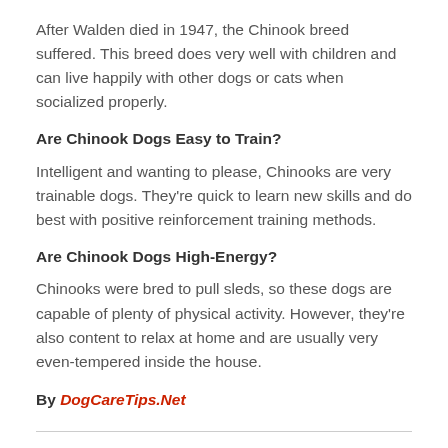After Walden died in 1947, the Chinook breed suffered. This breed does very well with children and can live happily with other dogs or cats when socialized properly.
Are Chinook Dogs Easy to Train?
Intelligent and wanting to please, Chinooks are very trainable dogs. They're quick to learn new skills and do best with positive reinforcement training methods.
Are Chinook Dogs High-Energy?
Chinooks were bred to pull sleds, so these dogs are capable of plenty of physical activity. However, they're also content to relax at home and are usually very even-tempered inside the house.
By DogCareTips.Net
You might also like...